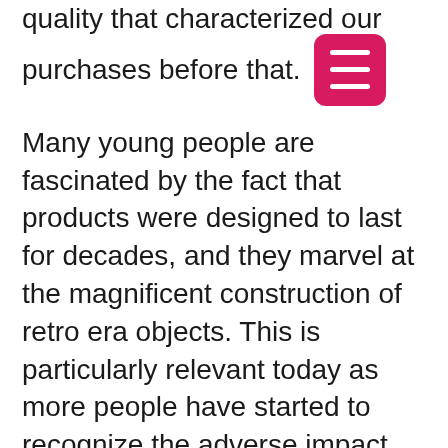quality that characterized our purchases before that.
Many young people are fascinated by the fact that products were designed to last for decades, and they marvel at the magnificent construction of retro era objects. This is particularly relevant today as more people have started to recognize the adverse impact that we are having on the planet. Resilient items from the middle of the last century are proof that we can do better if we choose to.
Another factor is the restrained design style, especially when compared to the punk-heavy brashness of the 1980s. Retro interior style is much more elegant. Retro futuristic interior design can be outlandish in concept but it is still far more similar to modern styles than